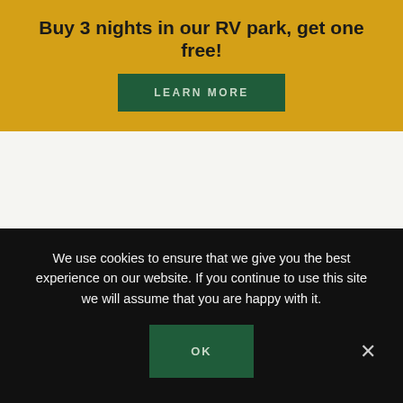Buy 3 nights in our RV park, get one free!
LEARN MORE
[Figure (photo): Partial photo of trees against a sky, showing treetops and sky at the bottom of the content area]
We use cookies to ensure that we give you the best experience on our website. If you continue to use this site we will assume that you are happy with it.
OK